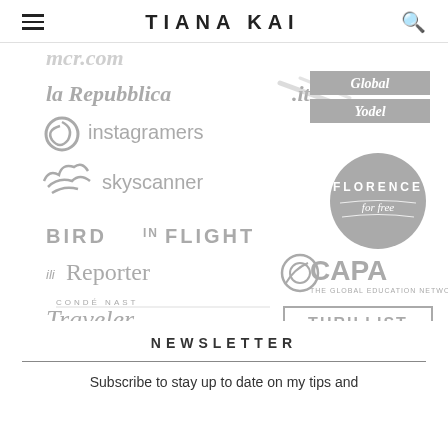TIANA KAI
[Figure (logo): Collection of media/publication logos in gray: la Repubblica.it, Global Yodel, instagramers, skyscanner, Florence for free, BIRD IN FLIGHT, iliReporter, CAPA The Global Education Network, Condé Nast Traveler, Thrillist]
NEWSLETTER
Subscribe to stay up to date on my tips and